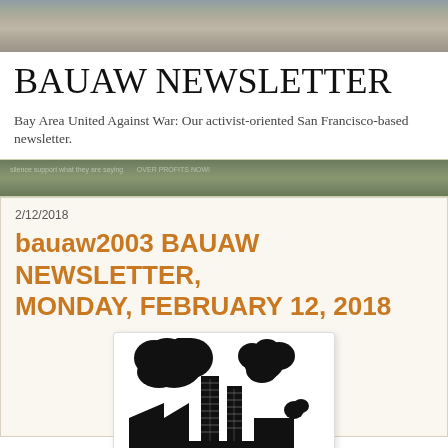[Figure (photo): Header banner photo of a city street scene, muted colors]
BAUAW NEWSLETTER
Bay Area United Against War: Our activist-oriented San Francisco-based newsletter.
[Figure (photo): Banner photo of protest signs with text visible including 'what they are saying' and 'OVER PROFITS NOW']
2/12/2018
bauaw2003 BAUAW NEWSLETTER, MONDAY, FEBRUARY 12, 2018
[Figure (illustration): Black and white illustration of a factory with brick chimneys emitting large black smoke clouds, industrial building silhouette at base]